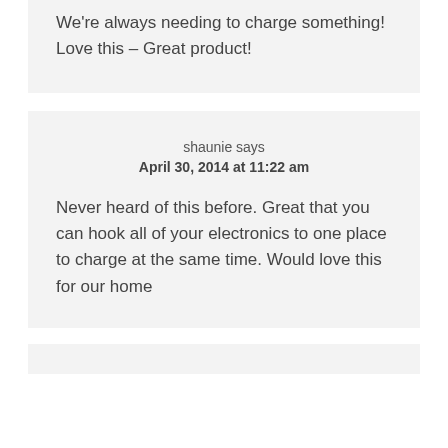We're always needing to charge something! Love this – Great product!
shaunie says
April 30, 2014 at 11:22 am
Never heard of this before. Great that you can hook all of your electronics to one place to charge at the same time. Would love this for our home